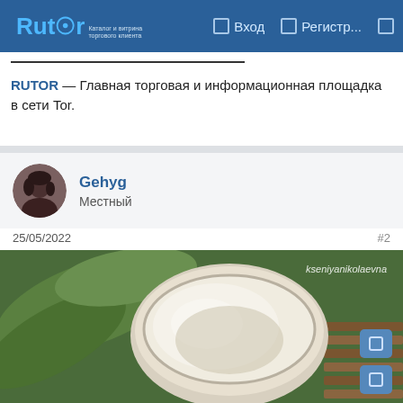Rutor — Вход — Регистр...
RUTOR — Главная торговая и информационная площадка в сети Tor.
Gehyg
Местный
25/05/2022
#2
[Figure (photo): Photo of an open white cream/cosmetic jar with a watermark 'kseniyanikolaevna', surrounded by green leaves]